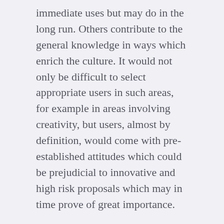immediate uses but may do in the long run. Others contribute to the general knowledge in ways which enrich the culture. It would not only be difficult to select appropriate users in such areas, for example in areas involving creativity, but users, almost by definition, would come with pre-established attitudes which could be prejudicial to innovative and high risk proposals which may in time prove of great importance.
Research Quantum
The ACP supports the proposal to simplify the means of arriving at the Research Quantum (or